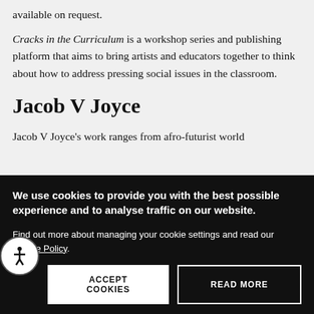available on request.
Cracks in the Curriculum is a workshop series and publishing platform that aims to bring artists and educators together to think about how to address pressing social issues in the classroom.
Jacob V Joyce
Jacob V Joyce's work ranges from afro-futurist world
We use cookies to provide you with the best possible experience and to analyse traffic on our website.
Find out more about managing your cookie settings and read our Cookie Policy.